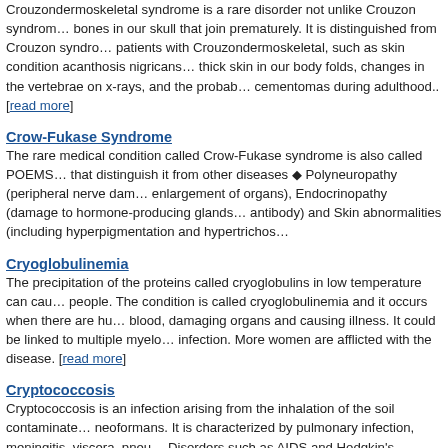Crouzondermoskeletal syndrome is a rare disorder not unlike Crouzon syndrome that causes bones in our skull that join prematurely. It is distinguished from Crouzon syndrome in patients with Crouzondermoskeletal, such as skin condition acanthosis nigricans, patches of thick skin in our body folds, changes in the vertebrae on x-rays, and the probable development of cementomas during adulthood.. [read more]
Crow-Fukase Syndrome
The rare medical condition called Crow-Fukase syndrome is also called POEMS. The features that distinguish it from other diseases ◆ Polyneuropathy (peripheral nerve damage), Organomegaly (enlargement of organs), Endocrinopathy (damage to hormone-producing glands), M-protein (M-antibody) and Skin abnormalities (including hyperpigmentation and hypertrichosis).
Cryoglobulinemia
The precipitation of the proteins called cryoglobulins in low temperature can cause disease in people. The condition is called cryoglobulinemia and it occurs when there are huge protein levels in blood, damaging organs and causing illness. It could be linked to multiple myeloma or to viral infection. More women are afflicted with the disease. [read more]
Cryptococcosis
Cryptococcosis is an infection arising from the inhalation of the soil contaminated with Cryptococcus neoformans. It is characterized by pulmonary infection, meningitis, viscera, pneumonia, etc. Disorders such as AIDS and Hodgkin's disease increase the risk of acquiring cryptococcosis. It was a rare infection before the start of AIDS epidemic. [read more]
Cryptorchidism